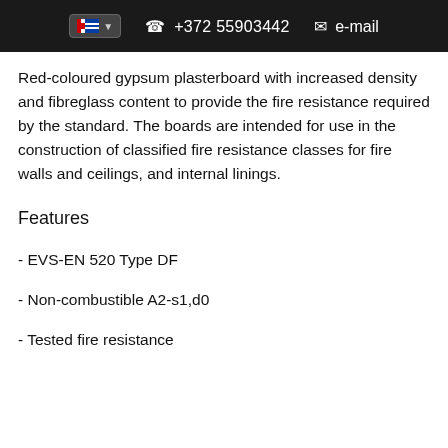+372 55903442  e-mail
Red-coloured gypsum plasterboard with increased density and fibreglass content to provide the fire resistance required by the standard. The boards are intended for use in the construction of classified fire resistance classes for fire walls and ceilings, and internal linings.
Features
- EVS-EN 520 Type DF
- Non-combustible A2-s1,d0
- Tested fire resistance